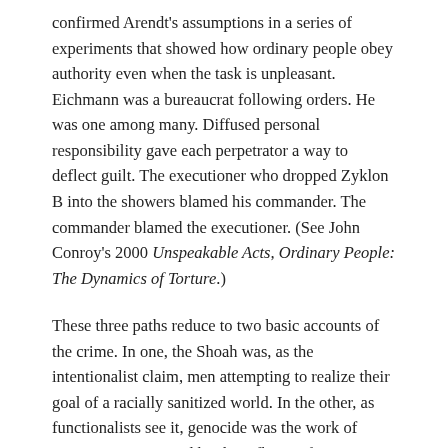confirmed Arendt's assumptions in a series of experiments that showed how ordinary people obey authority even when the task is unpleasant. Eichmann was a bureaucrat following orders. He was one among many. Diffused personal responsibility gave each perpetrator a way to deflect guilt. The executioner who dropped Zyklon B into the showers blamed his commander. The commander blamed the executioner. (See John Conroy's 2000 Unspeakable Acts, Ordinary People: The Dynamics of Torture.)
These three paths reduce to two basic accounts of the crime. In one, the Shoah was, as the intentionalist claim, men attempting to realize their goal of a racially sanitized world. In the other, as functionalists see it, genocide was the work of marionettes animated by the reflexes of an anonymous and impersonal puppet master. In neither of these explanations do ordinary Germans—if proponents acknowledge ordinary Germans at all—willingly